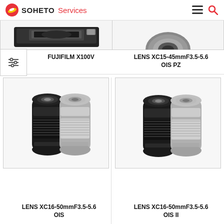SOHETO Services
[Figure (photo): Partial view of FUJIFILM X100V camera (top portion cut off)]
[Figure (photo): Partial view of LENS XC15-45mmF3.5-5.6 OIS PZ (top portion cut off)]
FUJIFILM X100V
LENS XC15-45mmF3.5-5.6 OIS PZ
[Figure (photo): Two camera lenses (black and silver) - LENS XC16-50mmF3.5-5.6 OIS]
[Figure (photo): Two camera lenses (black and silver) - LENS XC16-50mmF3.5-5.6 OIS II]
LENS XC16-50mmF3.5-5.6 OIS
LENS XC16-50mmF3.5-5.6 OIS II